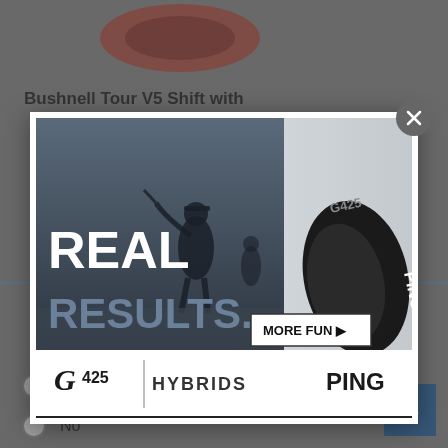[Figure (photo): Partial view of red product (Bushnell Tour V5 Shift rangefinder) at top of background page]
Bushnell Tour V5 Shift with
[Figure (photo): Modal ad overlay for PING G425 Hybrids. Shows a golfer silhouette on a misty course on the left, and a close-up of the PING G425 hybrid club head on the right. Large white bold text reads 'REAL RESULTS.' A button says 'MORE FUN ▶'. Bottom bar has 'G425 | HYBRIDS' in stylized font and 'PING' logo on the right.]
Yes
No